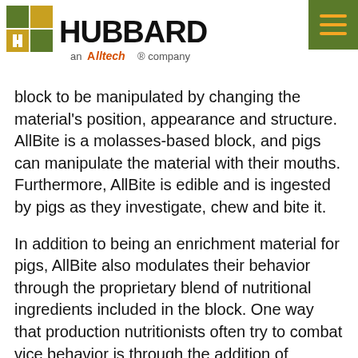[Figure (logo): Hubbard logo with green/yellow square grid icon, 'HUBBARD' bold text with registered trademark, 'an Alltech company' tagline below. Green hamburger menu button top right.]
investigate the material with their noses and mouths. n mechanism, with it connected ch and quick link clips, allows the block to be manipulated by changing the material's position, appearance and structure. AllBite is a molasses-based block, and pigs can manipulate the material with their mouths. Furthermore, AllBite is edible and is ingested by pigs as they investigate, chew and bite it.
In addition to being an enrichment material for pigs, AllBite also modulates their behavior through the proprietary blend of nutritional ingredients included in the block. One way that production nutritionists often try to combat vice behavior is through the addition of magnesium, which is included in the AllBite block as magnesium oxide. Magnesium is essential to normal mammalian function and acts as a